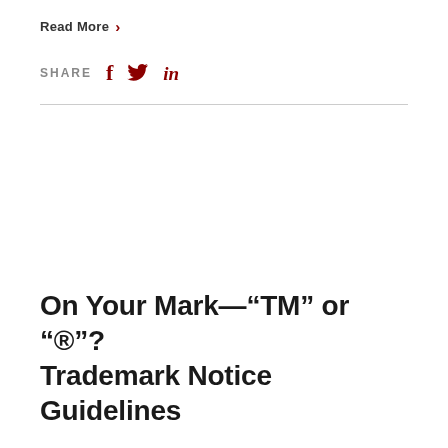Read More >
SHARE  f  🐦  in
On Your Mark—"TM" or "®"? Trademark Notice Guidelines